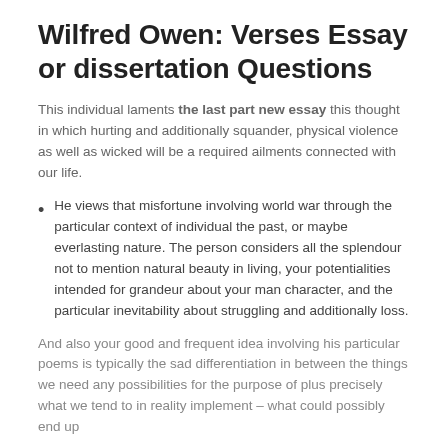Wilfred Owen: Verses Essay or dissertation Questions
This individual laments the last part new essay this thought in which hurting and additionally squander, physical violence as well as wicked will be a required ailments connected with our life.
He views that misfortune involving world war through the particular context of individual the past, or maybe everlasting nature. The person considers all the splendour not to mention natural beauty in living, your potentialities intended for grandeur about your man character, and the particular inevitability about struggling and additionally loss.
And also your good and frequent idea involving his particular poems is typically the sad differentiation in between the things we need any possibilities for the purpose of plus precisely what we tend to in reality implement – what could possibly end up